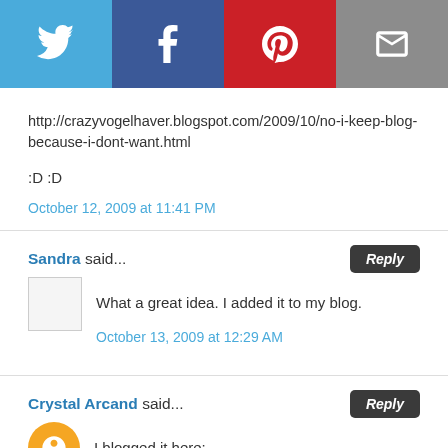[Figure (infographic): Social sharing bar with Twitter, Facebook, Pinterest, and Email icons]
http://crazyvogelhaver.blogspot.com/2009/10/no-i-keep-blog-because-i-dont-want.html
:D :D
October 12, 2009 at 11:41 PM
Sandra said...
What a great idea. I added it to my blog.
October 13, 2009 at 12:29 AM
Crystal Arcand said...
I blogged it here: http://wherethewinthingsare.blogspot.com/2009/10/how-much-fabric-card-guest-giveaway.html
October 13, 2009 at 2:34 AM